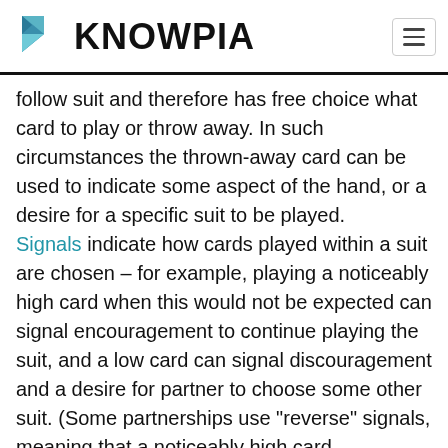KNOWPIA
follow suit and therefore has free choice what card to play or throw away. In such circumstances the thrown-away card can be used to indicate some aspect of the hand, or a desire for a specific suit to be played. Signals indicate how cards played within a suit are chosen – for example, playing a noticeably high card when this would not be expected can signal encouragement to continue playing the suit, and a low card can signal discouragement and a desire for partner to choose some other suit. (Some partnerships use "reverse" signals, meaning that a noticeably high card discourages that suit and a noticeably low card encourages that suit, thus not